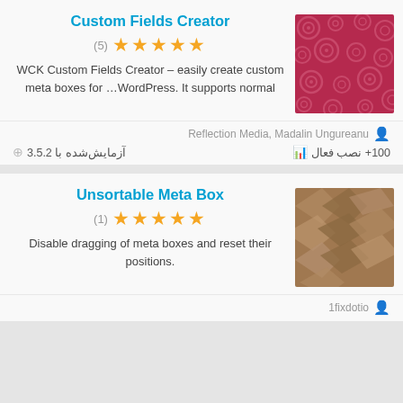Custom Fields Creator
(5) ★★★★★
WCK Custom Fields Creator – easily create custom meta boxes for …WordPress. It supports normal
[Figure (illustration): Thumbnail with dark pink/red background with repeating circle pattern]
Reflection Media, Madalin Ungureanu
100+ نصب فعال
آزمایش‌شده با 3.5.2
Unsortable Meta Box
(1) ★★★★★
Disable dragging of meta boxes and reset their positions.
[Figure (illustration): Thumbnail with brown/tan background with overlapping chevron/arrow shapes]
1fixdotio